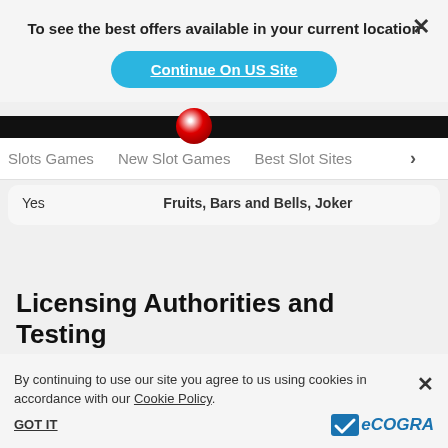To see the best offers available in your current location
Continue On US Site
Slots Games   New Slot Games   Best Slot Sites   >
| Yes | Fruits, Bars and Bells, Joker |
Licensing Authorities and Testing
By continuing to use our site you agree to us using cookies in accordance with our Cookie Policy.
GOT IT
[Figure (logo): eCOGRA logo with blue checkmark]